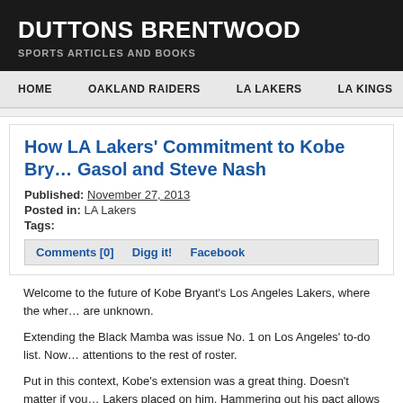DUTTONS BRENTWOOD
SPORTS ARTICLES AND BOOKS
HOME   OAKLAND RAIDERS   LA LAKERS   LA KINGS   GENERA
How LA Lakers' Commitment to Kobe Bry… Gasol and Steve Nash
Published: November 27, 2013
Posted in: LA Lakers
Tags:
Comments [0]   Digg it!   Facebook
Welcome to the future of Kobe Bryant's Los Angeles Lakers, where the wher… are unknown.
Extending the Black Mamba was issue No. 1 on Los Angeles' to-do list. Now… attentions to the rest of roster.
Put in this context, Kobe's extension was a great thing. Doesn't matter if you… Lakers placed on him. Hammering out his pact allows them to shed some cla… increasingly blurred by Robin Thicke's lines financial mystery.